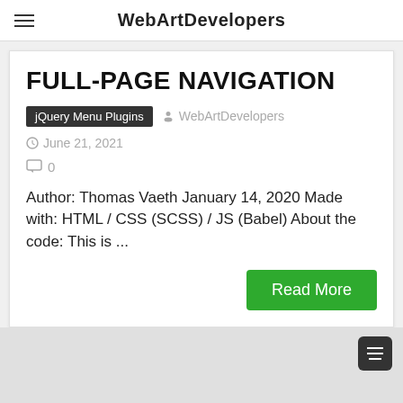WebArtDevelopers
FULL-PAGE NAVIGATION
jQuery Menu Plugins  WebArtDevelopers  June 21, 2021  0
Author: Thomas Vaeth January 14, 2020 Made with: HTML / CSS (SCSS) / JS (Babel) About the code: This is ...
Read More